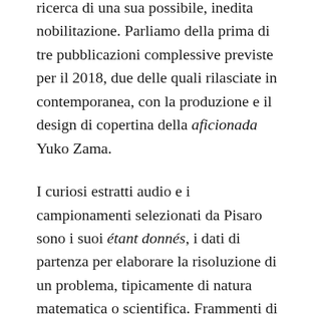ricerca di una sua possibile, inedita nobilitazione. Parliamo della prima di tre pubblicazioni complessive previste per il 2018, due delle quali rilasciate in contemporanea, con la produzione e il design di copertina della aficionada Yuko Zama.
I curiosi estratti audio e i campionamenti selezionati da Pisaro sono i suoi étant donnés, i dati di partenza per elaborare la risoluzione di un problema, tipicamente di natura matematica o scientifica. Frammenti di musiche ignorate, probabilmente snobbate al di fuori di pochi cultori del